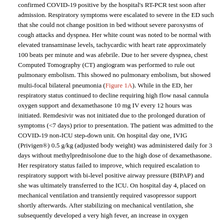confirmed COVID-19 positive by the hospital's RT-PCR test soon after admission. Respiratory symptoms were escalated to severe in the ED such that she could not change position in bed without severe paroxysms of cough attacks and dyspnea. Her white count was noted to be normal with elevated transaminase levels, tachycardic with heart rate approximately 100 beats per minute and was afebrile. Due to her severe dyspnea, chest Computed Tomography (CT) angiogram was performed to rule out pulmonary embolism. This showed no pulmonary embolism, but showed multi-focal bilateral pneumonia (Figure 1A). While in the ED, her respiratory status continued to decline requiring high flow nasal cannula oxygen support and dexamethasone 10 mg IV every 12 hours was initiated. Remdesivir was not initiated due to the prolonged duration of symptoms (<7 days) prior to presentation. The patient was admitted to the COVID-19 non-ICU step-down unit. On hospital day one, IVIG (Privigen®) 0.5 g/kg (adjusted body weight) was administered daily for 3 days without methylprednisolone due to the high dose of dexamethasone. Her respiratory status failed to improve, which required escalation to respiratory support with bi-level positive airway pressure (BIPAP) and she was ultimately transferred to the ICU. On hospital day 4, placed on mechanical ventilation and transiently required vasopressor support shortly afterwards. After stabilizing on mechanical ventilation, she subsequently developed a very high fever, an increase in oxygen